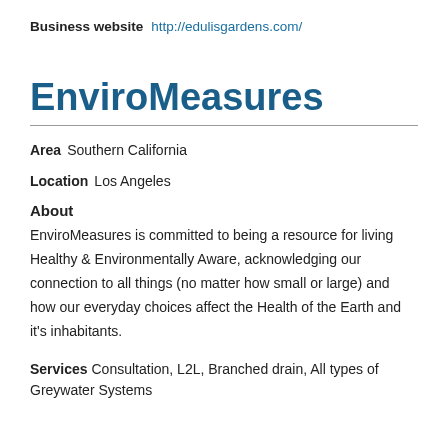Business website   http://edulisgardens.com/
EnviroMeasures
Area   Southern California
Location   Los Angeles
About
EnviroMeasures is committed to being a resource for living Healthy & Environmentally Aware, acknowledging our connection to all things (no matter how small or large) and how our everyday choices affect the Health of the Earth and it's inhabitants.
Services   Consultation, L2L, Branched drain, All types of Greywater Systems